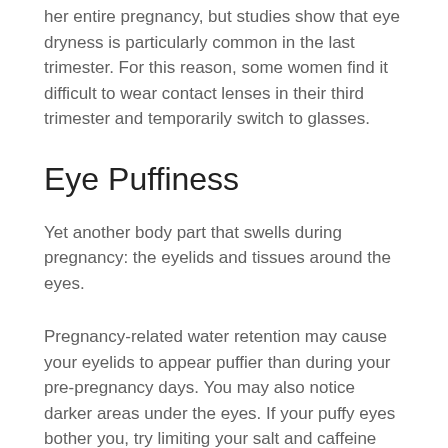her entire pregnancy, but studies show that eye dryness is particularly common in the last trimester. For this reason, some women find it difficult to wear contact lenses in their third trimester and temporarily switch to glasses.
Eye Puffiness
Yet another body part that swells during pregnancy: the eyelids and tissues around the eyes.
Pregnancy-related water retention may cause your eyelids to appear puffier than during your pre-pregnancy days. You may also notice darker areas under the eyes. If your puffy eyes bother you, try limiting your salt and caffeine intake, as they can worsen the problem.
Visual Changes That May Indicate a